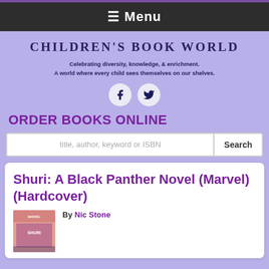☰ Menu
CHILDREN'S BOOK WORLD
Celebrating diversity, knowledge, & enrichment.
A world where every child sees themselves on our shelves.
[Figure (other): Facebook and Twitter social media icon circles]
ORDER BOOKS ONLINE
title, author, keyword or ISBN [Search]
Shuri: A Black Panther Novel (Marvel) (Hardcover)
[Figure (photo): Book cover of Shuri: A Black Panther Novel (Marvel)]
By Nic Stone